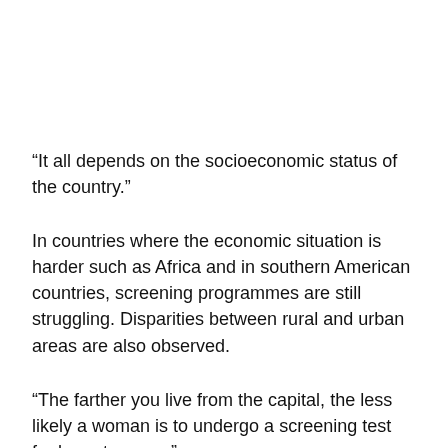“It all depends on the socioeconomic status of the country.”
In countries where the economic situation is harder such as Africa and in southern American countries, screening programmes are still struggling. Disparities between rural and urban areas are also observed.
“The farther you live from the capital, the less likely a woman is to undergo a screening test for breast cancer.”